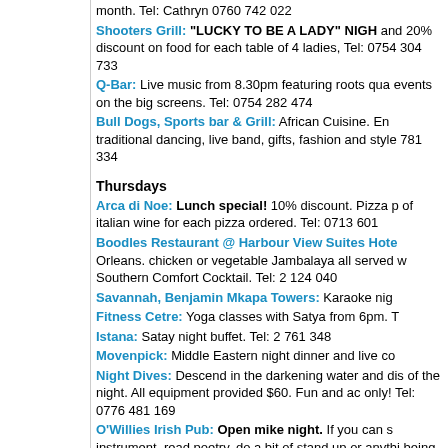month. Tel: Cathryn 0760 742 022
Shooters Grill: "LUCKY TO BE A LADY" NIGH... and 20% discount on food for each table of 4 ladies. Tel: 0754 304 733
Q-Bar: Live music from 8.30pm featuring roots qua... events on the big screens. Tel: 0754 282 474
Bull Dogs, Sports bar & Grill: African Cuisine. En... traditional dancing, live band, gifts, fashion and style... 781 334
Thursdays
Arca di Noe: Lunch special! 10% discount. Pizza p... of italian wine for each pizza ordered. Tel: 0713 601
Boodles Restaurant @ Harbour View Suites Hote... Orleans. chicken or vegetable Jambalaya all served w... Southern Comfort Cocktail. Tel: 2 124 040
Savannah, Benjamin Mkapa Towers: Karaoke nig...
Fitness Cetre: Yoga classes with Satya from 6pm. T...
Istana: Satay night buffet. Tel: 2 761 348
Movenpick: Middle Eastern night dinner and live co...
Night Dives: Descend in the darkening water and dis... of the night. All equipment provided $60. Fun and ac... only! Tel: 0776 481 169
O'Willies Irish Pub: Open mike night. If you can s... instrument, read poetry, do a bit of stand up or anythi... being on the stage then this is the night for you, all p... drink. For the rest of us it is great entertainment. Tel:...
O'Willies Irish Pub: Come to learn traditional Tanz... 5:30 to 6:30pm at the roof of Irish Pub in msasani. T... 0755 055 986
Peninsula Roof Bar: Salsa lessons. learn to salsa un... professional salsa teacher, something for everyone fr... expert. From 8.30pm. Tel: 2 601 273